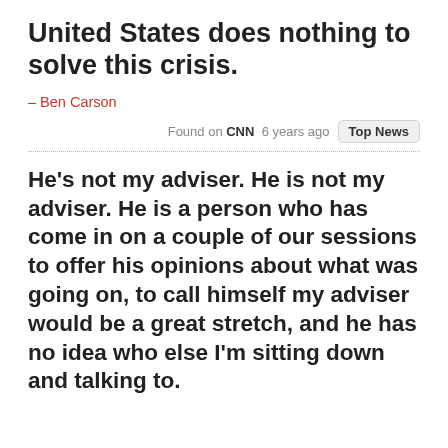United States does nothing to solve this crisis.
– Ben Carson
Found on CNN  6 years ago  Top News
He's not my adviser. He is not my adviser. He is a person who has come in on a couple of our sessions to offer his opinions about what was going on, to call himself my adviser would be a great stretch, and he has no idea who else I'm sitting down and talking to.